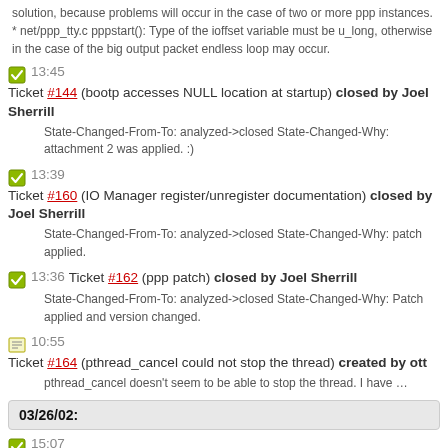solution, because problems will occur in the case of two or more ppp instances. * net/ppp_tty.c pppstart(): Type of the ioffset variable must be u_long, otherwise in the case of the big output packet endless loop may occur.
13:45 Ticket #144 (bootp accesses NULL location at startup) closed by Joel Sherrill
State-Changed-From-To: analyzed->closed State-Changed-Why: attachment 2 was applied. :)
13:39 Ticket #160 (IO Manager register/unregister documentation) closed by Joel Sherrill
State-Changed-From-To: analyzed->closed State-Changed-Why: patch applied.
13:36 Ticket #162 (ppp patch) closed by Joel Sherrill
State-Changed-From-To: analyzed->closed State-Changed-Why: Patch applied and version changed.
10:55 Ticket #164 (pthread_cancel could not stop the thread) created by ott
pthread_cancel doesn't seem to be able to stop the thread. I have …
03/26/02:
15:07 Ticket #159 (Problem with http application contained in netdemo.4.5.0) closed by Joel Sherrill
State-Changed-From-To: open->closed State-Changed-Why: Fixed in 4.5.1